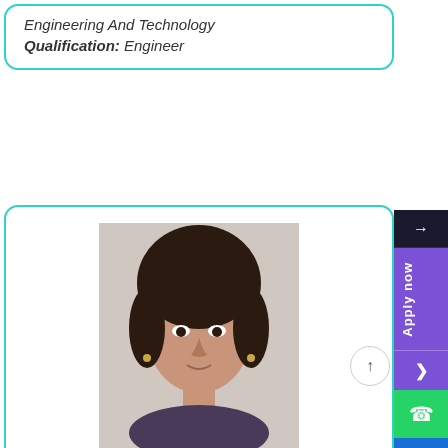Engineering And Technology
Qualification: Engineer
[Figure (photo): Headshot photo of a young woman with dark hair pulled back, looking directly at camera, wearing earrings, light background]
★★★★★
It's one of the best opportunity which I got from teleman. As electronics and telecommunication engineer I wanted to do job in core and i got platform from Teleman. Best in experience & teaching wise